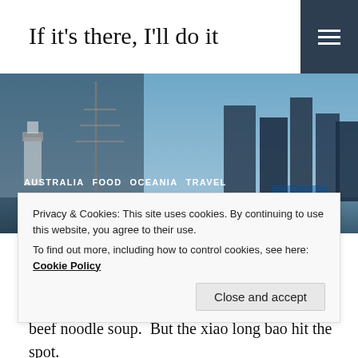If it's there, I'll do it
[Figure (photo): Hero banner photo of Sydney skyline with harbour, tall ships masts and modern skyscrapers under a blue sky]
AUSTRALIA  FOOD  OCEANIA  TRAVEL
Sydney Wrap Up
The day after hiking the Blue Mountains it was back to Sydney for one last full day of civilization before heading to India.  Accordingly, it was back on the food grind because who knew what I would actually be able to eat in India…
Privacy & Cookies: This site uses cookies. By continuing to use this website, you agree to their use.
To find out more, including how to control cookies, see here: Cookie Policy
beef noodle soup.  But the xiao long bao hit the spot.